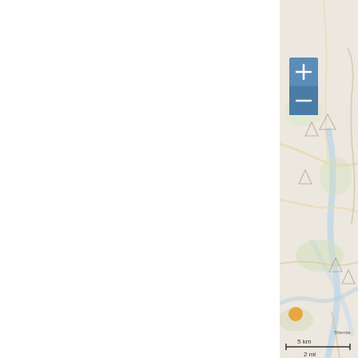Location
Please, click on mar
[Figure (map): Interactive map showing mountainous terrain with roads, rivers, and an orange marker dot near bottom. Scale bar shows 5 km / 2 mi. Zoom in (+) and zoom out (-) buttons visible on upper left of map.]